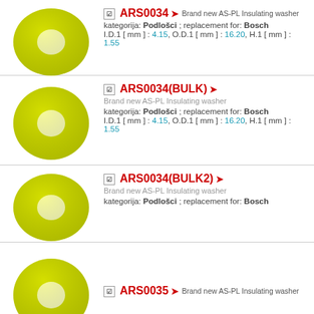[Figure (photo): Yellow-green donut-shaped insulating washer, top view]
ARS0034 → Brand new AS-PL Insulating washer
kategorija: Podlošci ; replacement for: Bosch
I.D.1 [ mm ] : 4.15, O.D.1 [ mm ] : 16.20, H.1 [ mm ] : 1.55
[Figure (photo): Yellow-green donut-shaped insulating washer, top view]
ARS0034(BULK) →
Brand new AS-PL Insulating washer
kategorija: Podlošci ; replacement for: Bosch
I.D.1 [ mm ] : 4.15, O.D.1 [ mm ] : 16.20, H.1 [ mm ] : 1.55
[Figure (photo): Yellow-green donut-shaped insulating washer, top view]
ARS0034(BULK2) →
Brand new AS-PL Insulating washer
kategorija: Podlošci ; replacement for: Bosch
[Figure (photo): Yellow-green donut-shaped insulating washer, partial top view]
ARS0035 → Brand new AS-PL Insulating washer